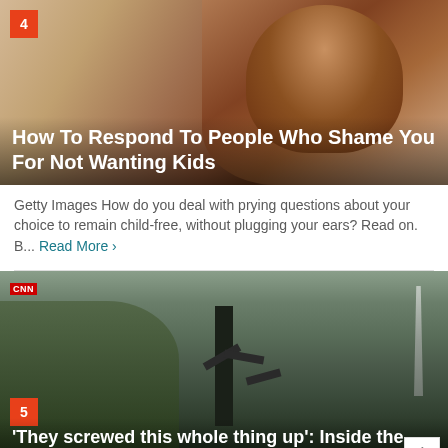[Figure (photo): Vintage-style illustration of a red-haired woman posing, with number badge '4' in upper left corner and article title overlay]
How To Respond To People Who Shame You For Not Wanting Kids
Getty Images How do you deal with prying questions about your choice to remain child-free, without plugging your ears? Read on. B... Read More >
[Figure (photo): Photo of microphones on stands outdoors near the White House with the Washington Monument visible, number badge '5' in upper left, CNN logo visible, article title overlay at bottom]
'They screwed this whole thing up': Inside the attempt to derail Trump's erratic Syria withdrawal